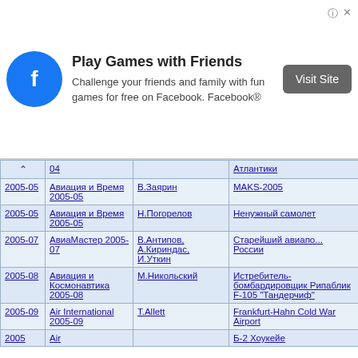[Figure (other): Facebook advertisement banner: Play Games with Friends. Challenge your friends and family with fun games for free on Facebook. Facebook®. Visit Site button.]
|  |  |  |  |
| --- | --- | --- | --- |
| ^ | 04 (truncated) | (truncated) | Атлантики (truncated) |
| 2005-05 | Авиация и Время 2005-05 | В.Заярин | MAKS-2005 |
| 2005-05 | Авиация и Время 2005-05 | Н.Погорелов | Ненужный самолет |
| 2005-07 | АвиаМастер 2005-07 | В.Антипов, А.Кириндас, И.Уткин | Старейший авиапол... России |
| 2005-08 | Авиация и Космонавтика 2005-08 | М.Никольский | Истребитель-бомбардировщик Рипаблик F-105 "Тандерчиф" |
| 2005-09 | Air International 2005-09 | T.Allett | Frankfurt-Hahn Cold War Airport |
| 2005 | Air |  | Б-2 Хоукейе (truncated) |